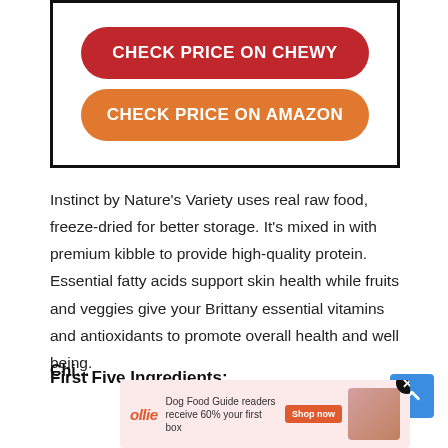[Figure (other): Box with two CTA buttons: CHECK PRICE ON CHEWY (red) and CHECK PRICE ON AMAZON (orange)]
Instinct by Nature’s Variety uses real raw food, freeze-dried for better storage. It’s mixed in with premium kibble to provide high-quality protein. Essential fatty acids support skin health while fruits and veggies give your Brittany essential vitamins and antioxidants to promote overall health and well being.
First Five Ingredients:
[Figure (other): Advertisement banner for Ollie dog food: 'Dog Food Guide readers receive 60% your first box' with Shop now button and food image]
Chi...